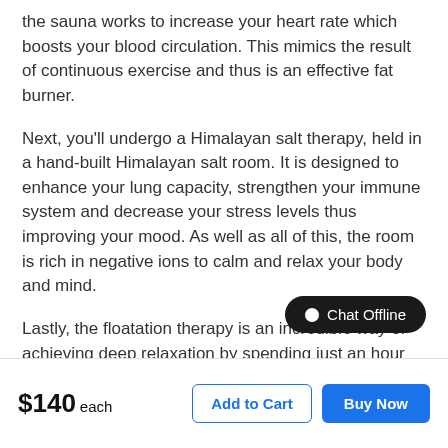the sauna works to increase your heart rate which boosts your blood circulation. This mimics the result of continuous exercise and thus is an effective fat burner.
Next, you'll undergo a Himalayan salt therapy, held in a hand-built Himalayan salt room. It is designed to enhance your lung capacity, strengthen your immune system and decrease your stress levels thus improving your mood. As well as all of this, the room is rich in negative ions to calm and relax your body and mind.
Lastly, the floatation therapy is an incredible way of achieving deep relaxation by spending just an hour lying quietly in darkness, suspended in a warm solution of healing Epsom salts. It is a luxurious way to soothe the mind and body while all of your senses ar external stimulation such as sound and light. On
Chat Offline
$140 each
Add to Cart
Buy Now